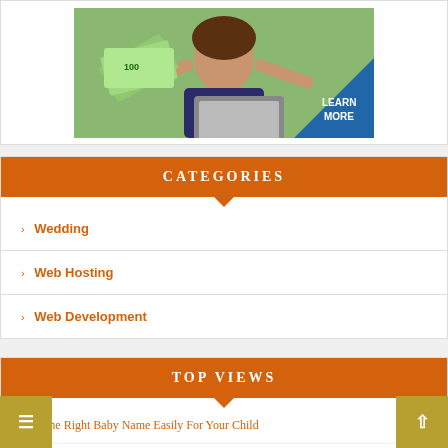[Figure (illustration): Advertisement banner showing a woman holding euro banknotes and a laptop with a 'LEARN MORE' badge in the corner]
CATEGORIES
> Wedding
> Web Hosting
> Web Development
TOP VIEWS
Find the Right Baby Name Easily For Your Child
> Basic Realities of Gutter Cleaning and furthermore